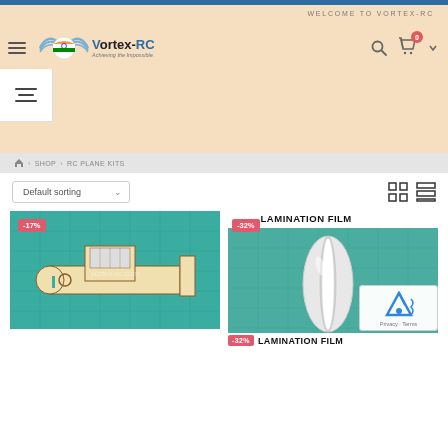WELCOME TO VORTEX-RC
[Figure (logo): Vortex-RC logo with wings and Indian flag colors circle, tagline: Achieving the Impossible]
Home > SHOP > RC PLANE KITS
Default sorting
[Figure (photo): RC plane wooden kit with -17% discount badge, shown on green cutting mat]
[Figure (photo): 15 MIL LAMINATION FILM roll on green cutting mat with -32% discount badge]